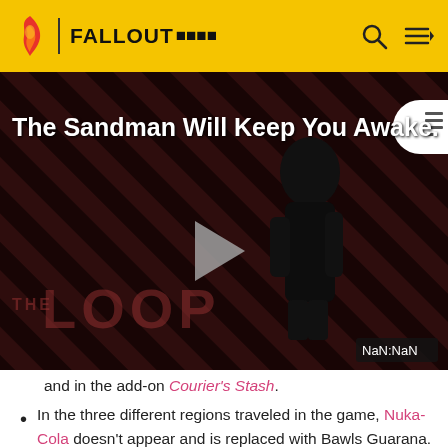FALLOUT Wiki
[Figure (screenshot): Video thumbnail for 'The Sandman Will Keep You Awake.' showing a dark figure in black against a striped red and black background, with a play button in the center and 'THE LOOP' text watermark. Time display shows NaN:NaN.]
and in the add-on Courier's Stash.
In the three different regions traveled in the game, Nuka-Cola doesn't appear and is replaced with Bawls Guarana.
There is a townsperson who says "His name is Robert